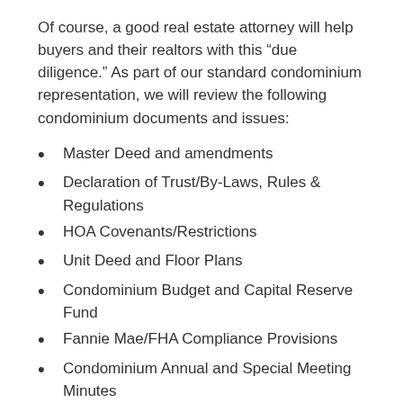Of course, a good real estate attorney will help buyers and their realtors with this “due diligence.” As part of our standard condominium representation, we will review the following condominium documents and issues:
Master Deed and amendments
Declaration of Trust/By-Laws, Rules & Regulations
HOA Covenants/Restrictions
Unit Deed and Floor Plans
Condominium Budget and Capital Reserve Fund
Fannie Mae/FHA Compliance Provisions
Condominium Annual and Special Meeting Minutes
Pending or Contemplated Special Assessments or Litigation
We will also build in provisions into your purchase and sale agreement to protect you in case there are unanticipated or undisclosed issues with the condominium which affect your